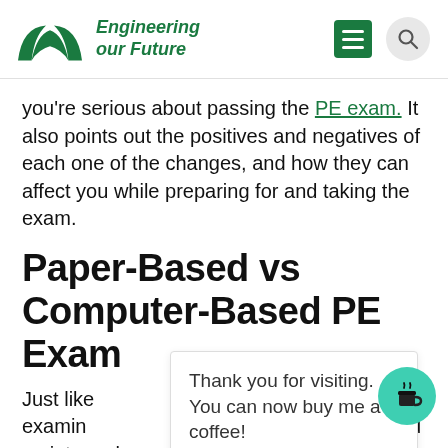Engineering our Future
you're serious about passing the PE exam. It also points out the positives and negatives of each one of the changes, and how they can affect you while preparing for and taking the exam.
Paper-Based vs Computer-Based PE Exam
Just like [partially obscured] as examining [partially obscured] to like this: you would go into a place with other
Thank you for visiting. You can now buy me a coffee!